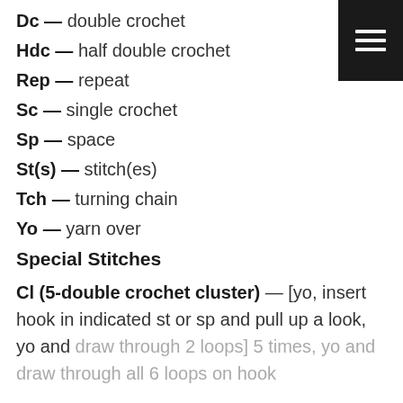Dc — double crochet
Hdc — half double crochet
Rep — repeat
Sc — single crochet
Sp — space
St(s) — stitch(es)
Tch — turning chain
Yo — yarn over
Special Stitches
Cl (5-double crochet cluster) — [yo, insert hook in indicated st or sp and pull up a look, yo and draw through 2 loops] 5 times, yo and draw through all 6 loops on hook.